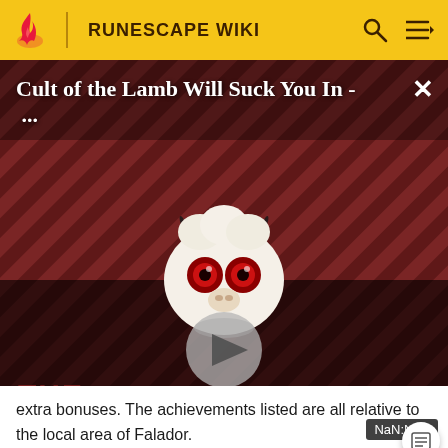RUNESCAPE WIKI
[Figure (screenshot): Video thumbnail for 'Cult of the Lamb Will Suck You In - ...' with a cartoon lamb character with red eyes on a dark striped background, a large play button in the center, 'THE LOOP' text watermark at bottom left, a close (X) button at top right, and a NaN:NaN duration badge at bottom right.]
extra bonuses. The achievements listed are all relative to the local area of Falador.
Redbeard Frank in Port Sarim, the Chemist in Rimmington, and Squire Asrol will reward the player for completing the